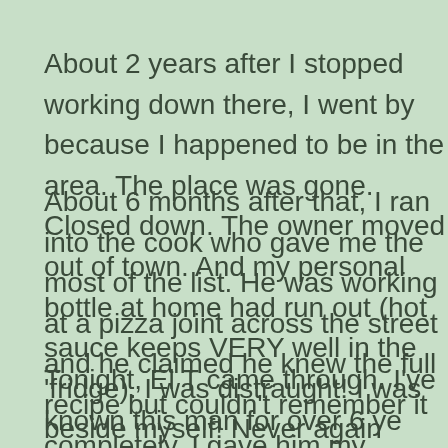About 2 years after I stopped working down there, I went by because I happened to be in the area. The place was gone. Closed down. The owner moved out of town. And my personal bottle at home had run out (hot sauce keeps VERY well in the 'fridge). I was distraught! I was beside myself! Never again would I taste the wonder of El Diablo.
About 6 months after that, I ran into the cook who gave me the most of the list. He was working at a pizza joint across the street and he claimed he knew the full recipe but couldn't remember it completely. I gave him my contact info and begged him to help me. I never heard from him. From time to time, I would occasionally see him around the area. I even offered him $20 to save me. He never came through.
Tonight, El T came through. I've known this man for over 6 years. Since he moved away from the area (to MI and now DE), I only saw him for less than one weekend in early June each year. Cincy. While we are ra